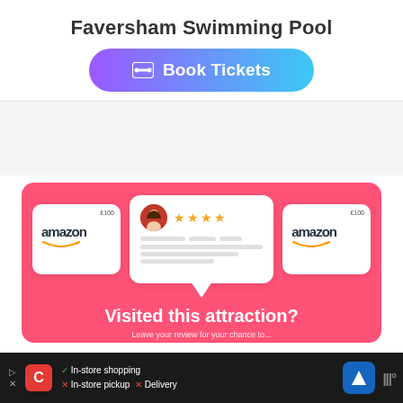Faversham Swimming Pool
Book Tickets
[Figure (infographic): Pink promotional card with two Amazon £100 gift cards flanking a review speech bubble with a female avatar and 4-star rating. Text reads 'Visited this attraction?']
[Figure (infographic): Bottom ad bar showing CK brand logo with In-store shopping (checkmark), In-store pickup (X), Delivery (X), navigation arrow button, and brand watermark]